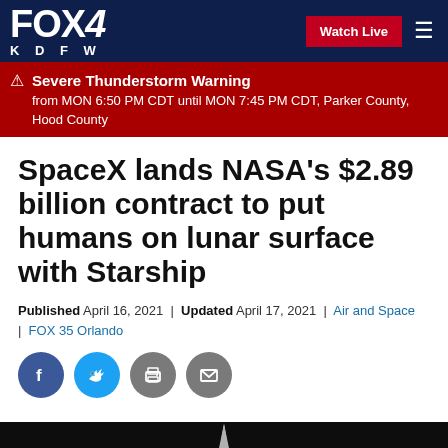FOX 4 KDFW
Severe Thunderstorm Warning from MON 6:50 PM CDT until MON 7:45 PM CDT, Parker County, Hood County
SpaceX lands NASA's $2.89 billion contract to put humans on lunar surface with Starship
Published April 16, 2021 | Updated April 17, 2021 | Air and Space | FOX 35 Orlando
[Figure (illustration): Social sharing icons: Facebook, Twitter, Print, Email]
[Figure (photo): Dark background with rocket tip visible at bottom of image]